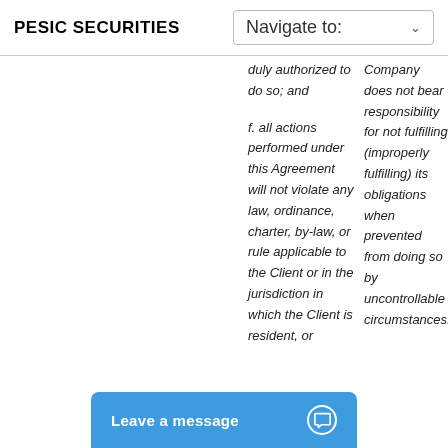PESIC SECURITIES
duly authorized to do so; and
Company does not bear responsibility for not fulfilling (improperly fulfilling) its obligations when prevented from doing so by uncontrollable circumstances.
f. all actions performed under this Agreement will not violate any law, ordinance, charter, by-law, or rule applicable to the Client or in the jurisdiction in which the Client is resident, or
Leave a message